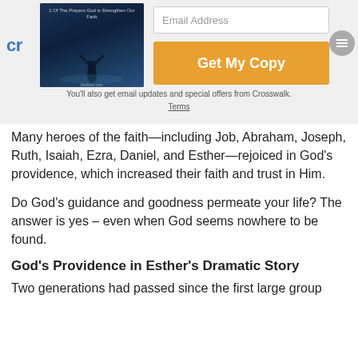[Figure (other): Promo banner with book image, email input field, orange 'Get My Copy' button, and footer text about email updates from Crosswalk with Terms link.]
Many heroes of the faith—including Job, Abraham, Joseph, Ruth, Isaiah, Ezra, Daniel, and Esther—rejoiced in God's providence, which increased their faith and trust in Him.
Do God's guidance and goodness permeate your life? The answer is yes – even when God seems nowhere to be found.
God's Providence in Esther's Dramatic Story
Two generations had passed since the first large group